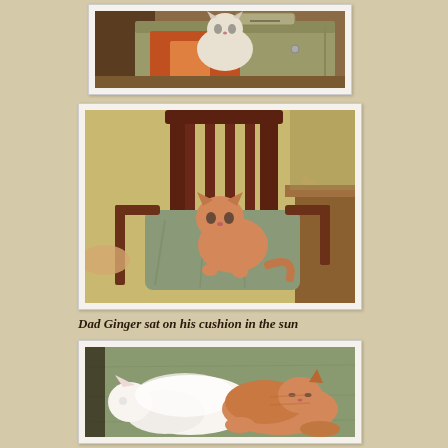[Figure (photo): A cat sitting inside a light olive/tan handbag or basket on a wooden floor]
[Figure (photo): An orange/ginger cat sitting on a cushion on a wooden chair with slat back, in sunlit room]
Dad Ginger sat on his cushion in the sun
[Figure (photo): Two cats curled up together sleeping on a green surface - one white and one orange/ginger]